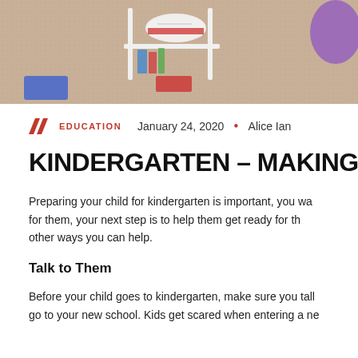[Figure (photo): Photo of children's school supplies and shoes on a carpet, viewed from above]
EDUCATION  January 24, 2020  •  Alice Ian
KINDERGARTEN – MAKING THE TRAN
Preparing your child for kindergarten is important, you wa for them, your next step is to help them get ready for th other ways you can help.
Talk to Them
Before your child goes to kindergarten, make sure you tall go to your new school. Kids get scared when entering a ne